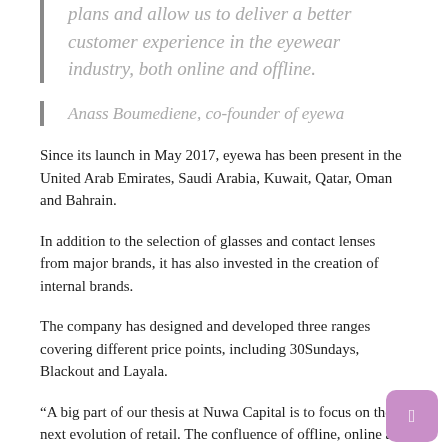plans and allow us to deliver a better customer experience in the eyewear industry, both online and offline.
Anass Boumediene, co-founder of eyewa
Since its launch in May 2017, eyewa has been present in the United Arab Emirates, Saudi Arabia, Kuwait, Qatar, Oman and Bahrain.
In addition to the selection of glasses and contact lenses from major brands, it has also invested in the creation of internal brands.
The company has designed and developed three ranges covering different price points, including 30Sundays, Blackout and Layala.
“A big part of our thesis at Nuwa Capital is to focus on the next evolution of retail. The confluence of offline, online and private label commerce is at the heart of this thesis, â€ said Khaled Talhouni, Managing Partner of Nuwa Capital.